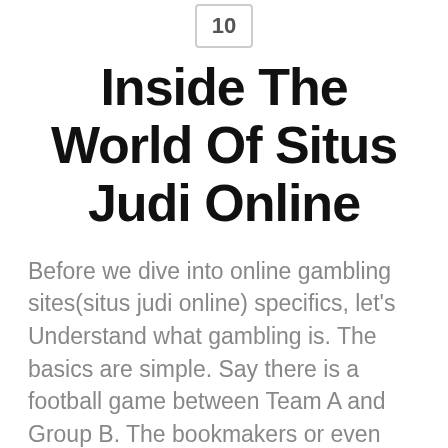[Figure (logo): Small square logo box with number or icon inside, partially cropped at top]
Inside The World Of Situs Judi Online
Before we dive into online gambling sites(situs judi online) specifics, let’s Understand what gambling is. The basics are simple. Say there is a football game between Team A and Group B. The bookmakers or even bookies for short offer odds that shows every groups’ chances for